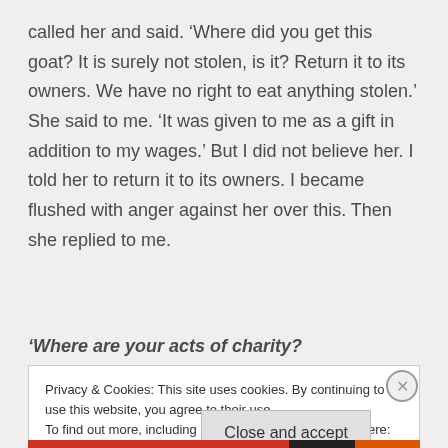called her and said. ‘Where did you get this goat? It is surely not stolen, is it? Return it to its owners. We have no right to eat anything stolen.’ She said to me. ‘It was given to me as a gift in addition to my wages.’ But I did not believe her. I told her to return it to its owners. I became flushed with anger against her over this. Then she replied to me.
‘Where are your acts of charity?
Privacy & Cookies: This site uses cookies. By continuing to use this website, you agree to their use. To find out more, including how to control cookies, see here: Cookie Policy